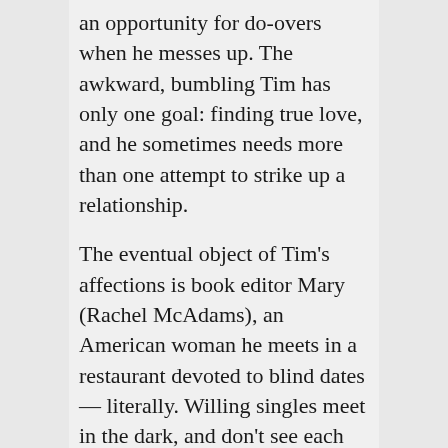an opportunity for do-overs when he messes up. The awkward, bumbling Tim has only one goal: finding true love, and he sometimes needs more than one attempt to strike up a relationship.
The eventual object of Tim's affections is book editor Mary (Rachel McAdams), an American woman he meets in a restaurant devoted to blind dates — literally. Willing singles meet in the dark, and don't see each other until they leave the restaurant.